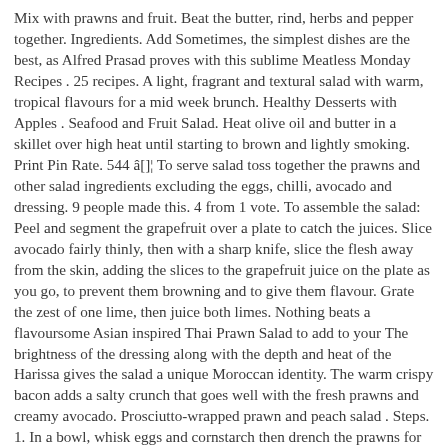Mix with prawns and fruit. Beat the butter, rind, herbs and pepper together. Ingredients. Add Sometimes, the simplest dishes are the best, as Alfred Prasad proves with this sublime Meatless Monday Recipes . 25 recipes. A light, fragrant and textural salad with warm, tropical flavours for a mid week brunch. Healthy Desserts with Apples . Seafood and Fruit Salad. Heat olive oil and butter in a skillet over high heat until starting to brown and lightly smoking. Print Pin Rate. 544 â[]¦ To serve salad toss together the prawns and other salad ingredients excluding the eggs, chilli, avocado and dressing. 9 people made this. 4 from 1 vote. To assemble the salad: Peel and segment the grapefruit over a plate to catch the juices. Slice avocado fairly thinly, then with a sharp knife, slice the flesh away from the skin, adding the slices to the grapefruit juice on the plate as you go, to prevent them browning and to give them flavour. Grate the zest of one lime, then juice both limes. Nothing beats a flavoursome Asian inspired Thai Prawn Salad to add to your The brightness of the dressing along with the depth and heat of the Harissa gives the salad a unique Moroccan identity. The warm crispy bacon adds a salty crunch that goes well with the fresh prawns and creamy avocado. Prosciutto-wrapped prawn and peach salad . Steps. 1. In a bowl, whisk eggs and cornstarch then drench the prawns for deep-fry in hot oil. 5. Shrimp, Pepper, and Cucumber Salad . salt and pepper. Mix in the fruit cocktail and chill. Chilling Time 1h. Divide